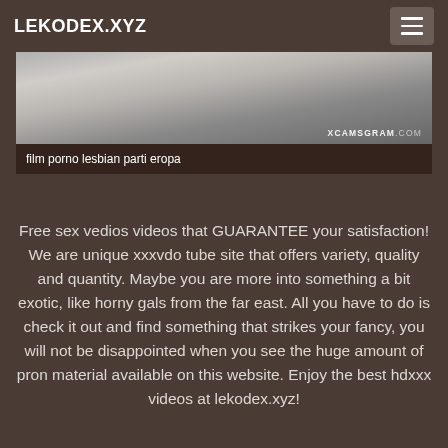LEKODEX.XYZ
[Figure (photo): Partial view of a person near a bathtub with XCAMSGRAM.COM watermark]
film porno lesbian parti eropa
Free sex vedios videos that GUARANTEE your satisfaction! We are unique xxxvdo tube site that offers variety, quality and quantity. Maybe you are more into something a bit exotic, like horny gals from the far east. All you have to do is check it out and find something that strikes your fancy, you will not be disappointed when you see the huge amount of pron material available on this website. Enjoy the best hdxxx videos at lekodex.xyz!